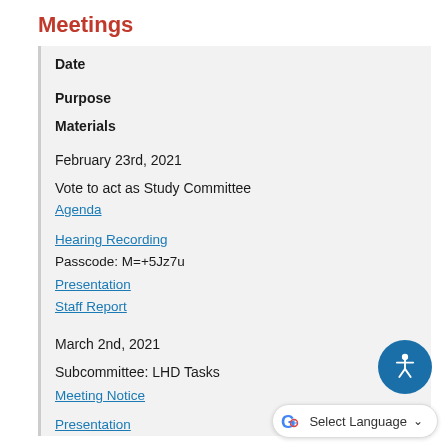Meetings
| Date | Purpose | Materials |
| --- | --- | --- |
| February 23rd, 2021 | Vote to act as Study Committee | Agenda
Hearing Recording
Passcode: M=+5Jz7u
Presentation
Staff Report |
| March 2nd, 2021 | Subcommittee: LHD Tasks | Meeting Notice
Presentation |
[Figure (other): Accessibility (wheelchair person icon) circular button]
[Figure (other): Google Translate widget with G logo and Select Language dropdown]